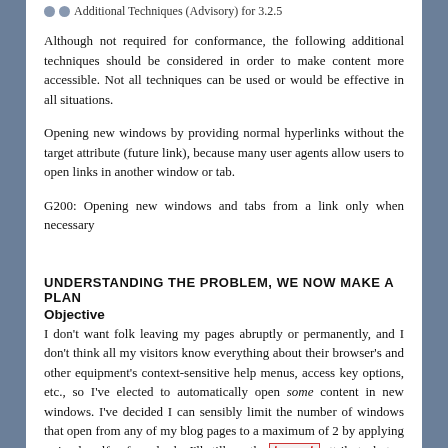Additional Techniques (Advisory) for 3.2.5
Although not required for conformance, the following additional techniques should be considered in order to make content more accessible. Not all techniques can be used or would be effective in all situations.
Opening new windows by providing normal hyperlinks without the target attribute (future link), because many user agents allow users to open links in another window or tab.
G200: Opening new windows and tabs from a link only when necessary
UNDERSTANDING THE PROBLEM, WE NOW MAKE A PLAN
Objective
I don't want folk leaving my pages abruptly or permanently, and I don't think all my visitors know everything about their browser's and other equipment's context-sensitive help menus, access key options, etc., so I've elected to automatically open some content in new windows. I've decided I can sensibly limit the number of windows that open from any of my blog pages to a maximum of 2 by applying a simple self-enforced rule. I'll still use the target attribute, but